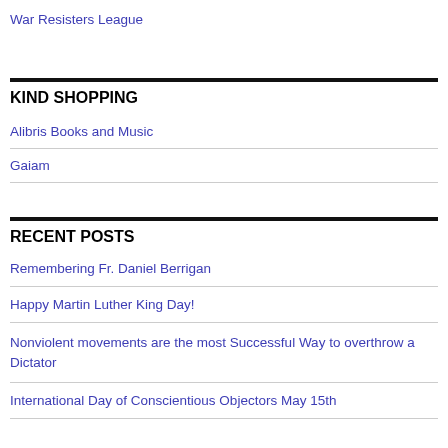War Resisters League
KIND SHOPPING
Alibris Books and Music
Gaiam
RECENT POSTS
Remembering Fr. Daniel Berrigan
Happy Martin Luther King Day!
Nonviolent movements are the most Successful Way to overthrow a Dictator
International Day of Conscientious Objectors May 15th